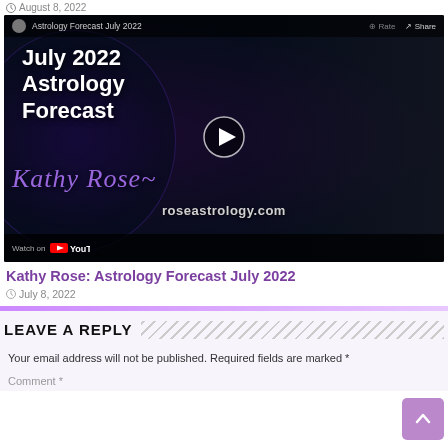[Figure (screenshot): YouTube video thumbnail for 'Astrology Forecast July 2022' featuring Kathy Rose. Dark background with zodiac wheel graphic on left, text overlay reading 'July 2022 Astrology Forecast' in white bold, cursive 'Kathy Rose' in purple, 'roseastrology.com' below. Woman with gray bob haircut on right side. YouTube player bar at top and bottom.]
Kathy Rose: Astrology Forecast July 2022
July 8, 2022
LEAVE A REPLY
Your email address will not be published. Required fields are marked *
Comment *